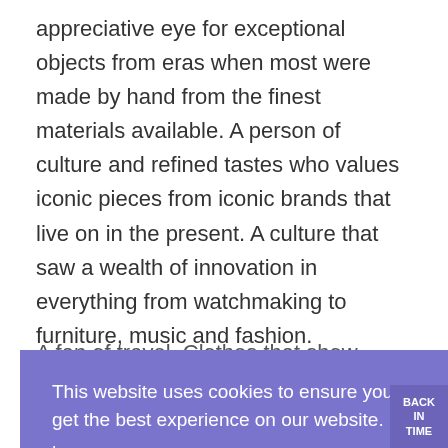appreciative eye for exceptional objects from eras when most were made by hand from the finest materials available. A person of culture and refined tastes who values iconic pieces from iconic brands that live on in the present. A culture that saw a wealth of innovation in everything from watchmaking to furniture, music and fashion.
A fan of travel. Clothes that show appreciation for...
This website uses cookies to ensure you get the best experience on our website.
Learn more
Got it!
BACK IN TIME